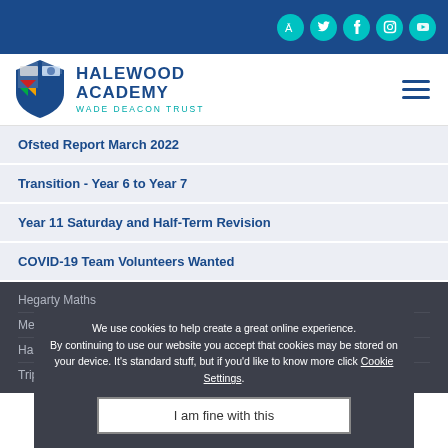Halewood Academy - Wade Deacon Trust (with social icons: translate, Twitter, Facebook, Instagram, YouTube)
[Figure (logo): Halewood Academy shield logo with Wade Deacon Trust branding]
HALEWOOD ACADEMY - WADE DEACON TRUST
Ofsted Report March 2022
Transition - Year 6 to Year 7
Year 11 Saturday and Half-Term Revision
COVID-19 Team Volunteers Wanted
Hegarty Maths
Megan Hurley Foundation
Halewood's Flying Visit
Trip to Krakow
We use cookies to help create a great online experience. By continuing to use our website you accept that cookies may be stored on your device. It's standard stuff, but if you'd like to know more click Cookie Settings.
I am fine with this